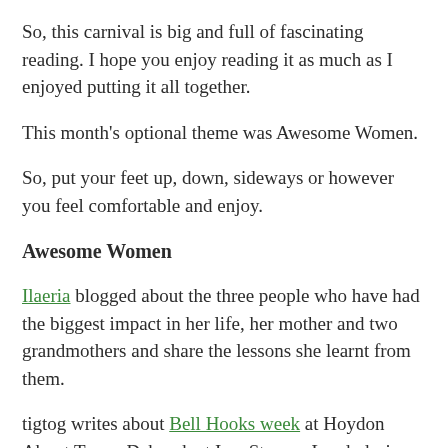So, this carnival is big and full of fascinating reading.  I hope you enjoy reading it as much as I enjoyed putting it all together.
This month's optional theme was Awesome Women.
So, put your feet up, down, sideways or however you feel comfortable and enjoy.
Awesome Women
Ilaeria blogged about the three people who have had the biggest impact in her life, her mother and two grandmothers and share the lessons she learnt from them.
tigtog writes about Bell Hooks week at Hoydon About Town. Deborah at In a Strange Land, during one of her Friday Womanist posts quotes Bell Hooks.